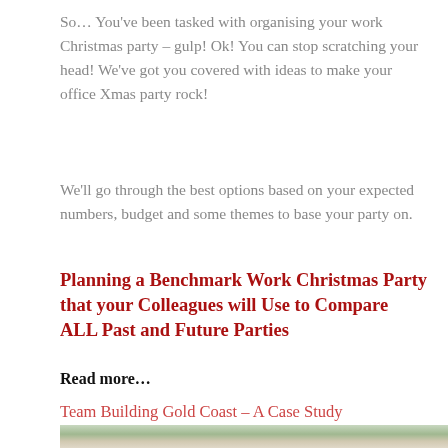So… You've been tasked with organising your work Christmas party – gulp! Ok! You can stop scratching your head! We've got you covered with ideas to make your office Xmas party rock!
We'll go through the best options based on your expected numbers, budget and some themes to base your party on.
Planning a Benchmark Work Christmas Party that your Colleagues will Use to Compare ALL Past and Future Parties
Read more…
Team Building Gold Coast – A Case Study
[Figure (photo): Outdoor team building activity photo showing people standing outdoors near trees, partially visible at bottom of page.]